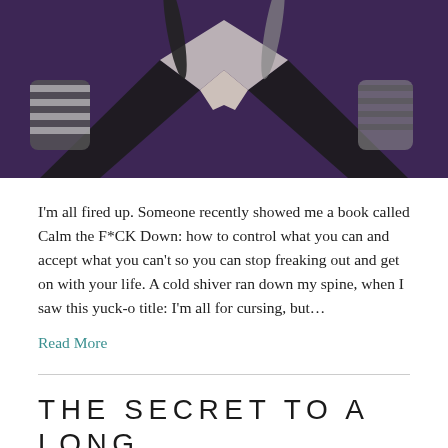[Figure (photo): Black and white photo of a person with braids, hands in a prayer or pointed position, with purple background]
I'm all fired up. Someone recently showed me a book called Calm the F*CK Down: how to control what you can and accept what you can't so you can stop freaking out and get on with your life. A cold shiver ran down my spine, when I saw this yuck-o title: I'm all for cursing, but...
Read More
THE SECRET TO A LONG,